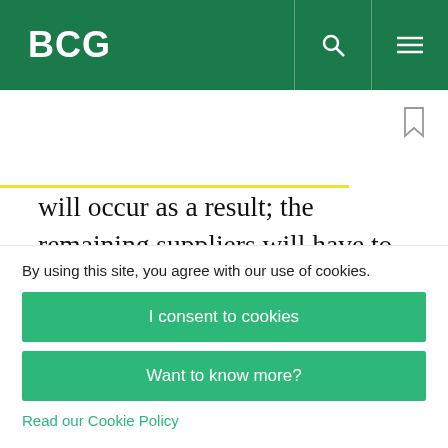BCG
will occur as a result; the remaining suppliers will have to be more lean and nimble to compete and survive. For suppliers in sectors that are integral to making SAEVs work (battery management, sensors, cybersecurity, and more), though, ample opportunity awaits. But they too will not be
By using this site, you agree with our use of cookies.
I consent to cookies
Want to know more?
Read our Cookie Policy